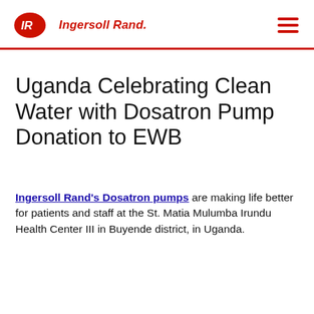Ingersoll Rand.
Uganda Celebrating Clean Water with Dosatron Pump Donation to EWB
Ingersoll Rand's Dosatron pumps are making life better for patients and staff at the St. Matia Mulumba Irundu Health Center III in Buyende district, in Uganda.